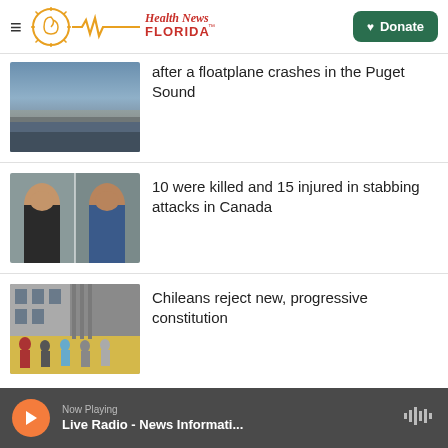Health News Florida — Donate
after a floatplane crashes in the Puget Sound
10 were killed and 15 injured in stabbing attacks in Canada
Chileans reject new, progressive constitution
Now Playing
Live Radio - News Informati...